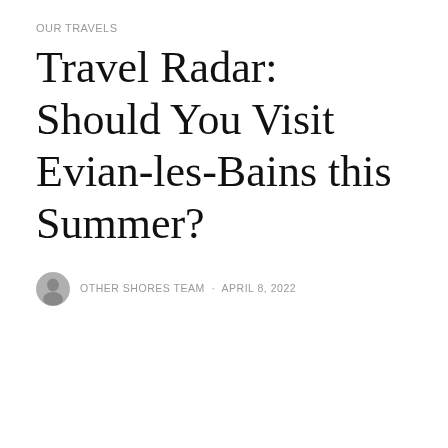OUR TRAVELS
Travel Radar: Should You Visit Evian-les-Bains this Summer?
OTHER SHORES TEAM · APRIL 8, 2022